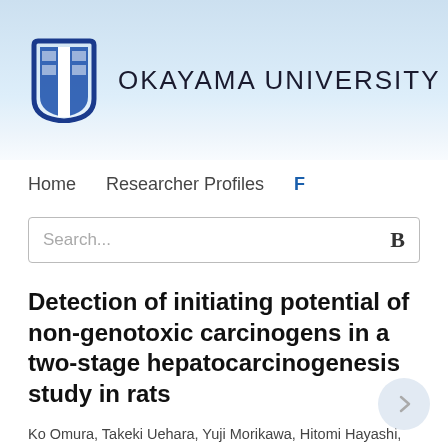[Figure (logo): Okayama University logo with stylized torch/book icon and text 'OKAYAMA UNIVERSITY' on a light blue gradient banner]
Home   Researcher Profiles   F
Search...   B
Detection of initiating potential of non-genotoxic carcinogens in a two-stage hepatocarcinogenesis study in rats
Ko Omura, Takeki Uehara, Yuji Morikawa, Hitomi Hayashi, Kunitoshi Mitsumori, Keiichi Minami, Masayuki Kanki, Hiroshi Yamada, Atsushi Ono, Tetsuro